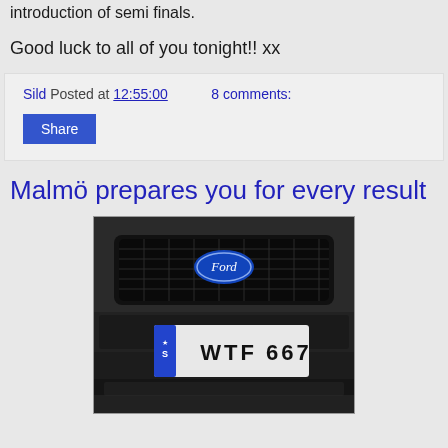introduction of semi finals.
Good luck to all of you tonight!! xx
Sild Posted at 12:55:00   8 comments:
Share
Malmö prepares you for every result
[Figure (photo): Close-up of a dark Ford car front bumper and grille, with a Swedish license plate reading 'WTF 667' with a blue EU strip on the left side marked 'S']